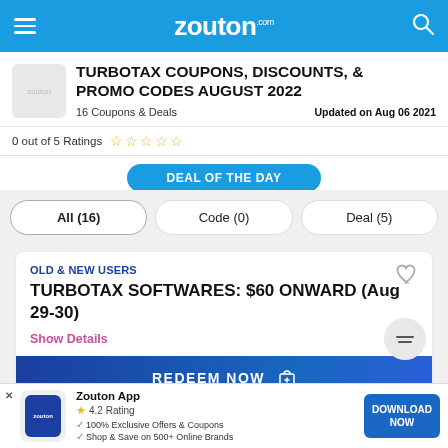zouton.com
TURBOTAX COUPONS, DISCOUNTS, & PROMO CODES AUGUST 2022
16 Coupons & Deals    Updated on Aug 06 2021
0 out of 5 Ratings
DEAL OF THE DAY
All (16)    Code (0)    Deal (5)
OLD & NEW USERS
TURBOTAX SOFTWARES: $60 ONWARD (Aug 29-30)
Show Details
REDEEM NOW
Zouton App  4.2 Rating  100% Exclusive Offers & Coupons  Shop & Save on 500+ Online Brands
DOWNLOAD NOW